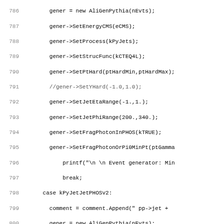Source code listing, lines 786-818, C++ code for AliGenPythia event generator configuration